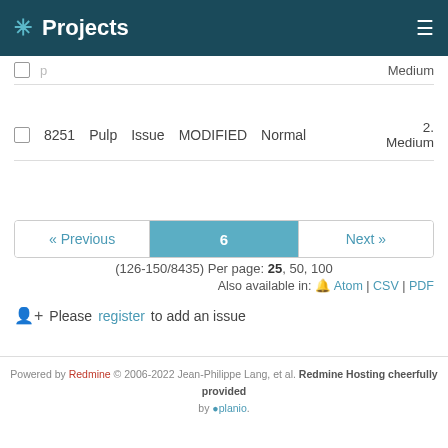Projects
Medium
|  | # | Project | Type | Status | Priority | Version |
| --- | --- | --- | --- | --- | --- | --- |
| ☐ | 8251 | Pulp | Issue | MODIFIED | Normal | 2. Medium |
« Previous  6  Next »
(126-150/8435) Per page: 25, 50, 100
Also available in: Atom | CSV | PDF
Please register to add an issue
Powered by Redmine © 2006-2022 Jean-Philippe Lang, et al. Redmine Hosting cheerfully provided by planio.